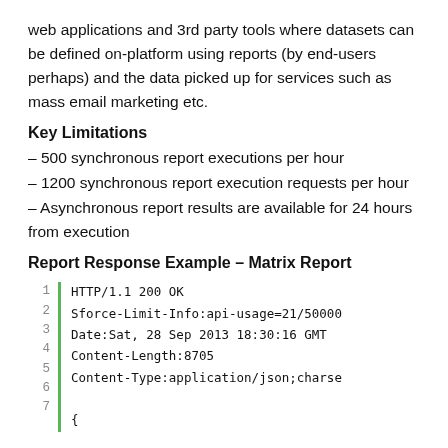web applications and 3rd party tools where datasets can be defined on-platform using reports (by end-users perhaps) and the data picked up for services such as mass email marketing etc.
Key Limitations
– 500 synchronous report executions per hour
– 1200 synchronous report execution requests per hour
– Asynchronous report results are available for 24 hours from execution
Report Response Example – Matrix Report
1
2
3
4
5
6
7
HTTP/1.1 200 OK
Sforce-Limit-Info:api-usage=21/50000
Date:Sat, 28 Sep 2013 18:30:16 GMT
Content-Length:8705
Content-Type:application/json;charse

{